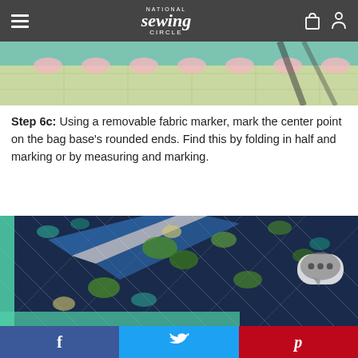National Sewing Circle
[Figure (photo): Top cropped photo showing teal and pink quilted fabric on a cutting mat]
Step 6c: Using a removable fabric marker, mark the center point on the bag base's rounded ends. Find this by folding in half and marking or by measuring and marking.
[Figure (photo): Close-up photo of dark navy quilted fabric with green and teal floral pattern and diagonal quilting stitches, with mint green binding visible on the left and bottom edges]
f  Twitter bird  p